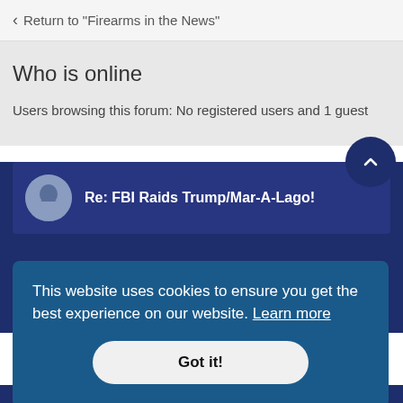Return to “Firearms in the News”
Who is online
Users browsing this forum: No registered users and 1 guest
Re: FBI Raids Trump/Mar-A-Lago!
This website uses cookies to ensure you get the best experience on our website. Learn more
Got it!